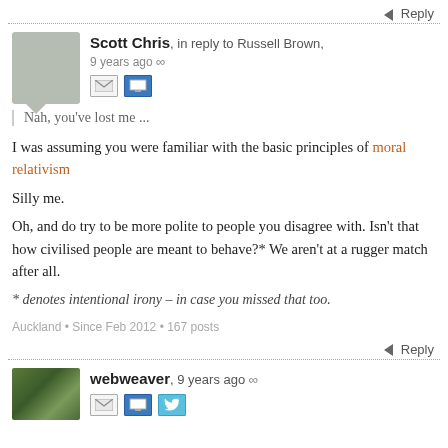Reply
Scott Chris, in reply to Russell Brown, 9 years ago
Nah, you've lost me ...
I was assuming you were familiar with the basic principles of moral relativism
Silly me.
Oh, and do try to be more polite to people you disagree with. Isn't that how civilised people are meant to behave?* We aren't at a rugger match after all.
* denotes intentional irony – in case you missed that too.
Auckland • Since Feb 2012 • 167 posts
Reply
webweaver, 9 years ago